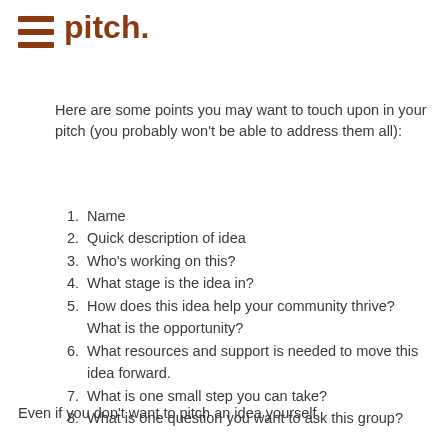pitch.
Here are some points you may want to touch upon in your pitch (you probably won't be able to address them all):
1. Name
2. Quick description of idea
3. Who's working on this?
4. What stage is the idea in?
5. How does this idea help your community thrive? What is the opportunity?
6. What resources and support is needed to move this idea forward.
7. What is one small step you can take?
8. What is one question you want to ask this group?
Even if you don't want to pitch an idea yourself,